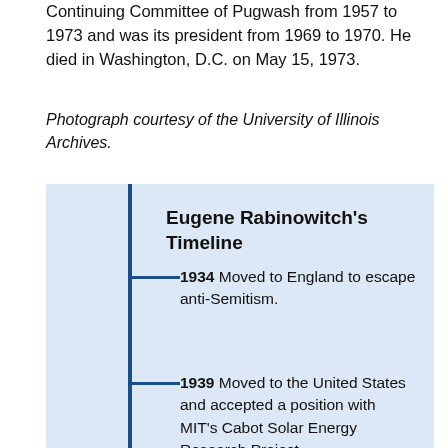Continuing Committee of Pugwash from 1957 to 1973 and was its president from 1969 to 1970. He died in Washington, D.C. on May 15, 1973.
Photograph courtesy of the University of Illinois Archives.
Eugene Rabinowitch's Timeline
1934 Moved to England to escape anti-Semitism.
1939 Moved to the United States and accepted a position with MIT's Cabot Solar Energy Research Project.
1944 Began working in the Met Lab in Chicago with his former mentor, James Franck.